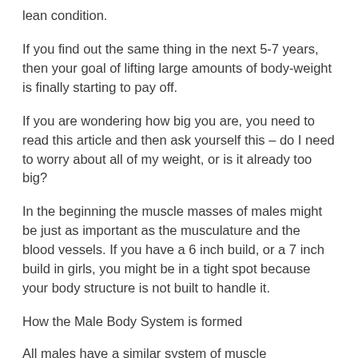lean condition.
If you find out the same thing in the next 5-7 years, then your goal of lifting large amounts of body-weight is finally starting to pay off.
If you are wondering how big you are, you need to read this article and then ask yourself this – do I need to worry about all of my weight, or is it already too big?
In the beginning the muscle masses of males might be just as important as the musculature and the blood vessels. If you have a 6 inch build, or a 7 inch build in girls, you might be in a tight spot because your body structure is not built to handle it.
How the Male Body System is formed
All males have a similar system of muscle and a system of function…